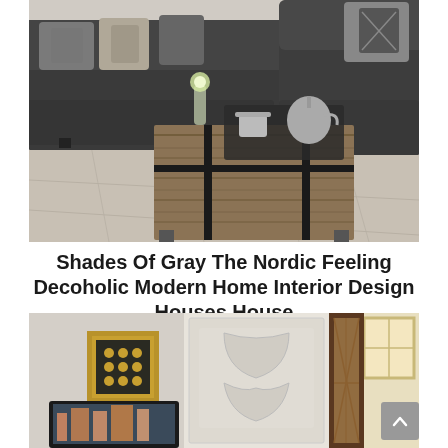[Figure (photo): Interior living room photo showing a large dark gray sectional sofa with decorative pillows, and a rustic wooden block coffee table with metal accents on a light tile floor. A small vase with flowers and a tea set are on the coffee table.]
Shades Of Gray The Nordic Feeling Decoholic Modern Home Interior Design Houses House
[Figure (photo): Interior room photo showing cream-colored walls with a gold-framed decorative wall piece, a large ornate white relief artwork panel, a TV mounted below, and a stained glass door panel on the right side.]